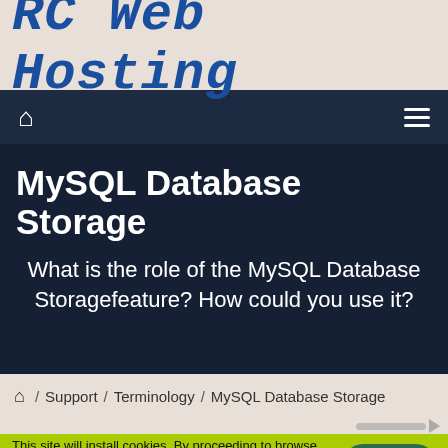RC Web Hosting
MySQL Database Storage
What is the role of the MySQL Database Storagefeature? How could you use it?
⌂ / Support / Terminology / MySQL Database Storage
This site will install cookies. By proceeding to browse this site you are giving your permission to our usage of cookies. Learn more about our cookies here.